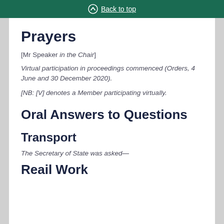Back to top
Prayers
[Mr Speaker in the Chair]
Virtual participation in proceedings commenced (Orders, 4 June and 30 December 2020).
[NB: [V] denotes a Member participating virtually.
Oral Answers to Questions
Transport
The Secretary of State was asked—